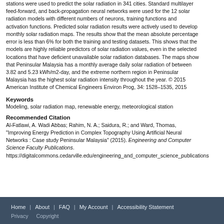stations were used to predict the solar radiation in 341 cities. Standard multilayer feed-forward, and back-propagation neural networks were used for the 12 solar radiation models with different numbers of neurons, training functions and activation functions. Predicted solar radiation results were actively used to develop monthly solar radiation maps. The results show that the mean absolute percentage error is less than 6% for both the training and testing datasets. This shows that the models are highly reliable predictors of solar radiation values, even in the selected locations that have deficient unavailable solar radiation databases. The maps show that Peninsular Malaysia has a monthly average daily solar radiation of between 3.82 and 5.23 kWh/m2-day, and the extreme northern region in Peninsular Malaysia has the highest solar radiation intensity throughout the year. © 2015 American Institute of Chemical Engineers Environ Prog, 34: 1528–1535, 2015
Keywords
Modeling, solar radiation map, renewable energy, meteorological station
Recommended Citation
Al-Fatlawi, A. Wadi Abbas; Rahim, N. A.; Saidura, R.; and Ward, Thomas, "Improving Energy Prediction in Complex Topography Using Artificial Neural Networks : Case study Peninsular Malaysia" (2015). Engineering and Computer Science Faculty Publications. https://digitalcommons.cedarville.edu/engineering_and_computer_science_publications
Home | About | FAQ | My Account | Accessibility Statement
Privacy   Copyright